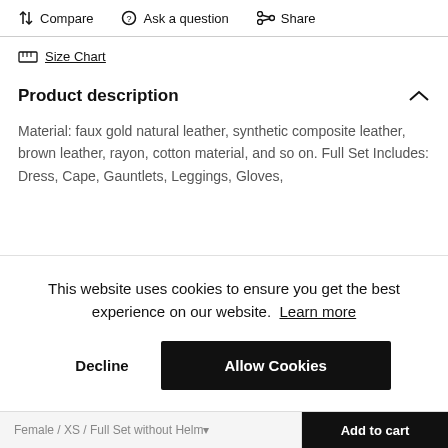Compare  Ask a question  Share
Size Chart
Product description
Material: faux gold natural leather, synthetic composite leather, brown leather, rayon, cotton material, and so on. Full Set Includes: Dress, Cape, Gauntlets, Leggings, Gloves,
This website uses cookies to ensure you get the best experience on our website. Learn more
Decline
Allow Cookies
Female / XS / Full Set without Helm  Add to cart